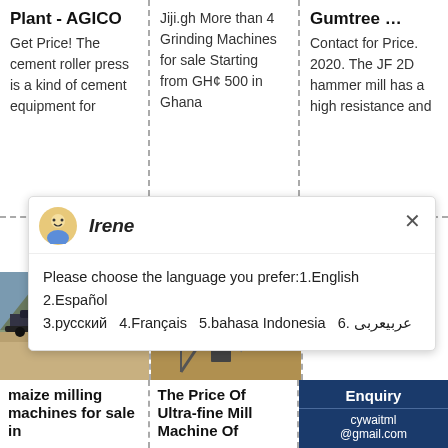Plant - AGICO
Get Price! The cement roller press is a kind of cement equipment for
Jiji.gh More than 4 Grinding Machines for sale Starting from GH¢ 500 in Ghana
Gumtree …
Contact for Price. 2020. The JF 2D hammer mill has a high resistance and
[Figure (screenshot): Chat popup with avatar of Irene, language selection message in multiple languages]
[Figure (photo): Mining machinery at a quarry site]
[Figure (photo): Construction crane or mining conveyor equipment]
[Figure (screenshot): Chat widget with smiley face avatar, badge showing 1, and Click me to chat button on blue background]
maize milling machines for sale in
The Price Of Ultra-fine Mill Machine Of
Enquiry
cywaitml@gmail.com